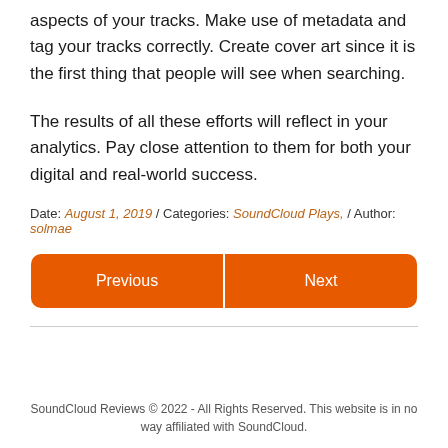aspects of your tracks. Make use of metadata and tag your tracks correctly. Create cover art since it is the first thing that people will see when searching.
The results of all these efforts will reflect in your analytics. Pay close attention to them for both your digital and real-world success.
Date: August 1, 2019 / Categories: SoundCloud Plays, / Author: solmae
Previous | Next
SoundCloud Reviews © 2022 - All Rights Reserved. This website is in no way affiliated with SoundCloud.